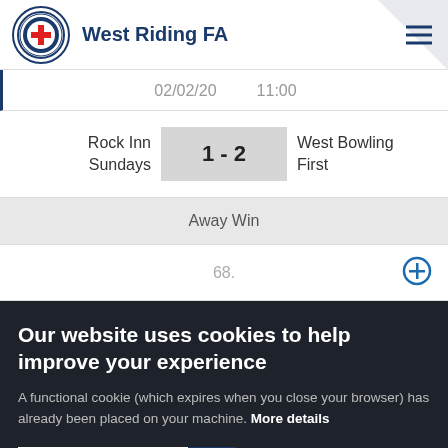West Riding FA
02/02/20   11:00
Rock Inn Sundays  1 - 2  West Bowling First
Away Win
68.
Our website uses cookies to help improve your experience
A functional cookie (which expires when you close your browser) has already been placed on your machine. More details
ACCEPT COOKIES